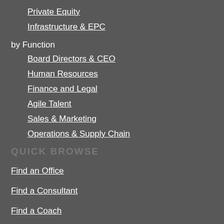Private Equity
Infrastructure & EPC
by Function
Board Directors & CEO
Human Resources
Finance and Legal
Agile Talent
Sales & Marketing
Operations & Supply Chain
QUICK BROWSE
Find an Office
Find a Consultant
Find a Coach